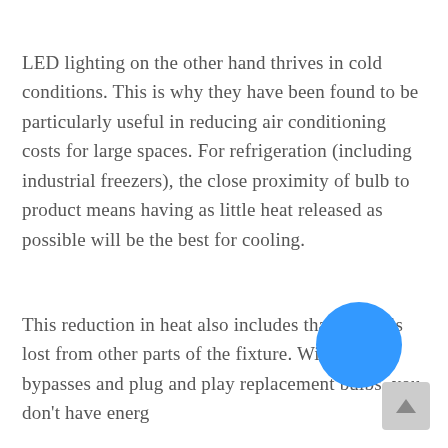LED lighting on the other hand thrives in cold conditions. This is why they have been found to be particularly useful in reducing air conditioning costs for large spaces. For refrigeration (including industrial freezers), the close proximity of bulb to product means having as little heat released as possible will be the best for cooling.
This reduction in heat also includes that which is lost from other parts of the fixture. With ballast bypasses and plug and play replacement bulbs, you don't have energy losing the form of heat from the —